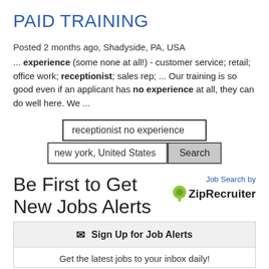PAID TRAINING
Posted 2 months ago, Shadyside, PA, USA
... experience (some none at all!) - customer service; retail; office work; receptionist; sales rep; ... Our training is so good even if an applicant has no experience at all, they can do well here. We ...
[Figure (screenshot): Search form with keyword field showing 'receptionist no experience', location field showing 'new york, United States', and a Search button]
Job Search by ZipRecruiter
Be First to Get New Jobs Alerts
✉ Sign Up for Job Alerts
Get the latest jobs to your inbox daily!